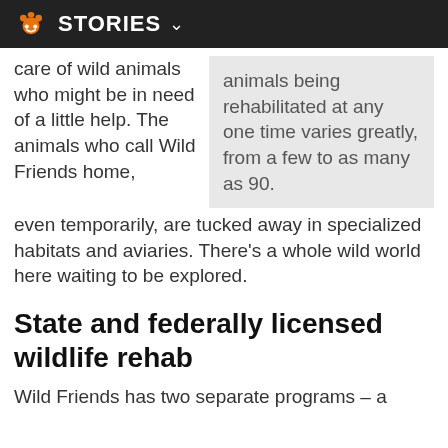STORIES
care of wild animals who might be in need of a little help. The animals who call Wild Friends home, even temporarily, are tucked away in specialized habitats and aviaries. There’s a whole wild world here waiting to be explored.
animals being rehabilitated at any one time varies greatly, from a few to as many as 90.
State and federally licensed wildlife rehab
Wild Friends has two separate programs – a